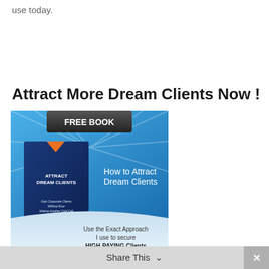use today.
Attract More Dream Clients Now !
[Figure (illustration): Advertisement banner for a free book titled 'Attract Dream Clients - Gain Corporate Clients Without Ever Making Another Cold Call'. Shows a book cover on a blue background with text 'FREE BOOK', 'How to Attract Dream Clients', and 'Use the Exact Approach I use to secure HIGH-PAYING Clients'.]
Share This